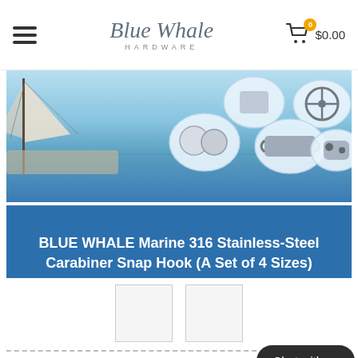Blue Whale Hardware | Cart: 0 items $0.00
[Figure (photo): Blue Whale Hardware product page screenshot showing a marine boat scene on the left and stainless steel marine hardware products (carabiners, snap hooks, knobs) in oval frames on the right, over a blue sky and ocean background.]
BLUE WHALE Marine 316 Stainless-Steel Carabiner Snap Hook (A Set of 4 Sizes)
[Figure (photo): Two product thumbnail images side by side, small squares showing product detail views.]
ITEMS DESCRIPTION
Default Title - $26.08
Add to cart
Chat with us